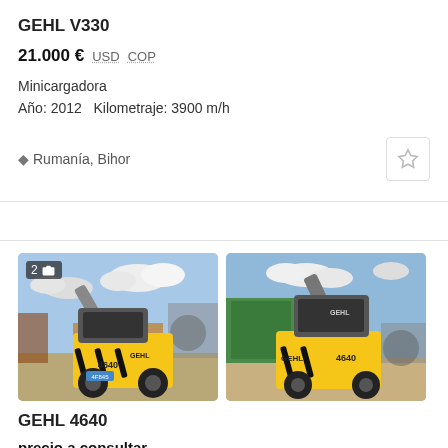GEHL V330
21.000 € USD COP
Minicargadora
Año: 2012   Kilometraje: 3900 m/h
Rumanía, Bihor
[Figure (photo): Two side-by-side photos of a yellow GEHL 4640 skid steer loader with raised arm, in a scrapyard setting]
GEHL 4640
precio a consultar